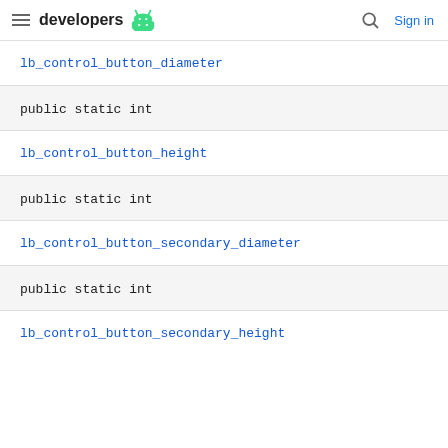developers
lb_control_button_diameter
public static int
lb_control_button_height
public static int
lb_control_button_secondary_diameter
public static int
lb_control_button_secondary_height